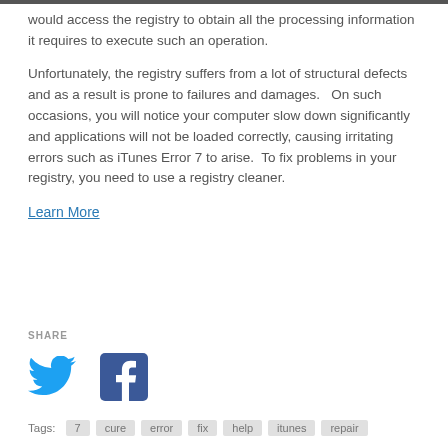would access the registry to obtain all the processing information it requires to execute such an operation.
Unfortunately, the registry suffers from a lot of structural defects and as a result is prone to failures and damages.   On such occasions, you will notice your computer slow down significantly and applications will not be loaded correctly, causing irritating errors such as iTunes Error 7 to arise.  To fix problems in your registry, you need to use a registry cleaner.
Learn More
SHARE
[Figure (logo): Twitter bird logo in blue and Facebook logo in blue square]
Tags:  7  cure  error  fix  help  itunes  repair